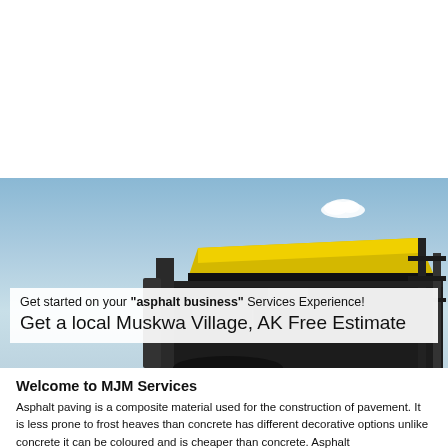[Figure (photo): Photo of a yellow asphalt paving machine (roller/compactor) against a blue sky with white clouds. Text overlay on white background reads: Get started on your "asphalt business" Services Experience! Get a local Muskwa Village, AK Free Estimate]
Welcome to MJM Services
Asphalt paving is a composite material used for the construction of pavement. It is less prone to frost heaves than concrete has different decorative options unlike concrete it can be coloured and is cheaper than concrete. Asphalt